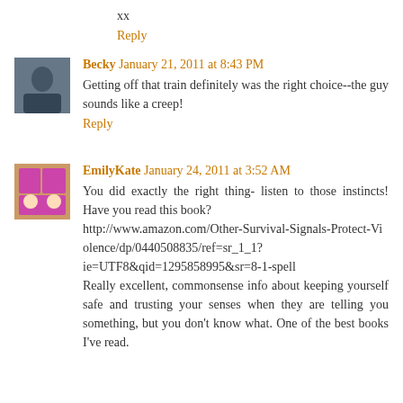xx
Reply
Becky  January 21, 2011 at 8:43 PM
Getting off that train definitely was the right choice--the guy sounds like a creep!
Reply
EmilyKate  January 24, 2011 at 3:52 AM
You did exactly the right thing- listen to those instincts! Have you read this book? http://www.amazon.com/Other-Survival-Signals-Protect-Violence/dp/0440508835/ref=sr_1_1?ie=UTF8&qid=1295858995&sr=8-1-spell Really excellent, commonsense info about keeping yourself safe and trusting your senses when they are telling you something, but you don't know what. One of the best books I've read.